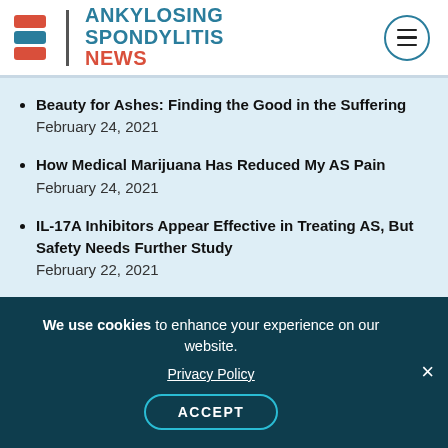Ankylosing Spondylitis News
Beauty for Ashes: Finding the Good in the Suffering February 24, 2021
How Medical Marijuana Has Reduced My AS Pain February 24, 2021
IL-17A Inhibitors Appear Effective in Treating AS, But Safety Needs Further Study February 22, 2021
We use cookies to enhance your experience on our website.
Privacy Policy
ACCEPT